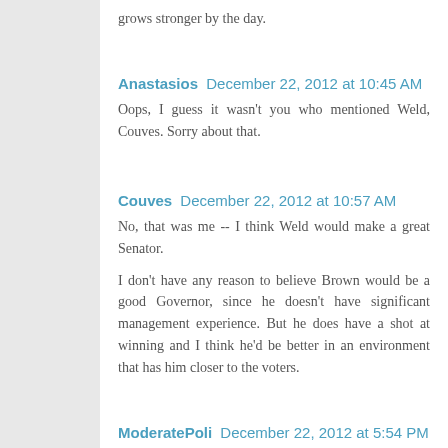grows stronger by the day.
Anastasios  December 22, 2012 at 10:45 AM
Oops, I guess it wasn't you who mentioned Weld, Couves. Sorry about that.
Couves  December 22, 2012 at 10:57 AM
No, that was me -- I think Weld would make a great Senator.
I don't have any reason to believe Brown would be a good Governor, since he doesn't have significant management experience. But he does have a shot at winning and I think he'd be better in an environment that has him closer to the voters.
ModeratePoli  December 22, 2012 at 5:54 PM